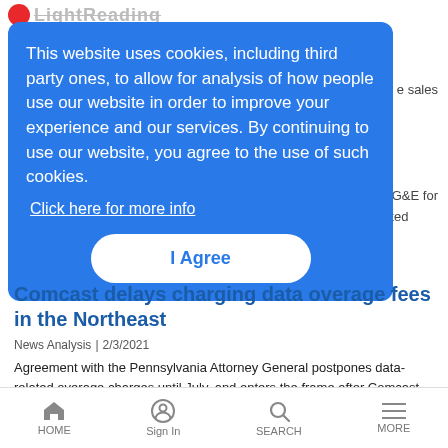Light Reading
This website uses cookies, including third party ones, to allow for analysis of how people use our website in order to improve your experience and our services. By continuing to use our website, you agree to the use of such cookies. Click here for more info
I Agree
Comcast delays charging data overage fees in the Northeast
News Analysis | 2/3/2021
Agreement with the Pennsylvania Attorney General postpones data-related overage charges until July, and enters the frame after Comcast faced mounting pressure from lawmakers in the region.
HOME  Sign In  SEARCH  MORE